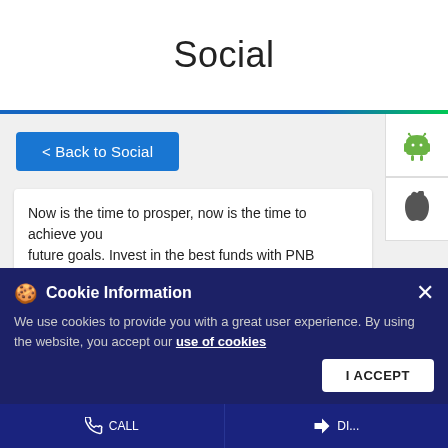Social
< Back to Social
Now is the time to prosper, now is the time to achieve your future goals. Invest in the best funds with PNB MetLife and #KaroBadeSapnoKiTayyari Visit https://www.pnbmetlife.com/ to know more Disclaimer:
https://www.pnbmetlife.com/tnc.html
#PNBMetLife #LifeInsurance #MorningStar #ULIPFunds #PNB #Insurance #Award #AwardWinning #FutureGoals #Funds #Prosper
#PNBMetLife
Cookie Information
We use cookies to provide you with a great user experience. By using the website, you accept our use of cookies
I ACCEPT
CALL
DI...